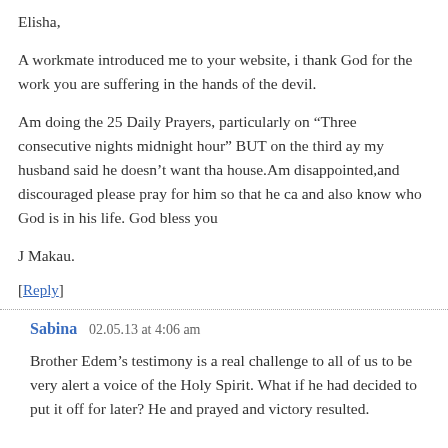Elisha,
A workmate introduced me to your website, i thank God for the work you are suffering in the hands of the devil.
Am doing the 25 Daily Prayers, particularly on “Three consecutive nights midnight hour” BUT on the third ay my husband said he doesn’t want that in house.Am disappointed,and discouraged please pray for him so that he ca and also know who God is in his life. God bless you
J Makau.
[Reply]
Sabina   02.05.13 at 4:06 am
Brother Edem’s testimony is a real challenge to all of us to be very alert a voice of the Holy Spirit. What if he had decided to put it off for later? He and prayed and victory resulted.